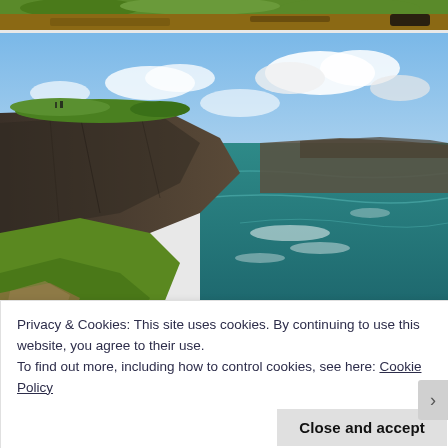[Figure (photo): Partial top strip showing green grass and brown earth/soil, cropped]
[Figure (photo): Cliffs of Moher, Ireland — dramatic dark stone cliffs dropping into the Atlantic Ocean, bright blue sky with clouds, green grass on clifftops, turquoise-blue ocean water with white waves]
Privacy & Cookies: This site uses cookies. By continuing to use this website, you agree to their use.
To find out more, including how to control cookies, see here: Cookie Policy
Close and accept